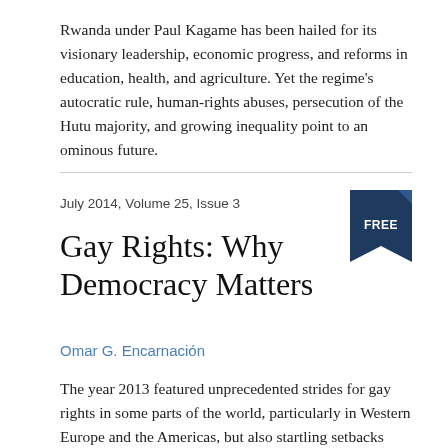Rwanda under Paul Kagame has been hailed for its visionary leadership, economic progress, and reforms in education, health, and agriculture. Yet the regime's autocratic rule, human-rights abuses, persecution of the Hutu majority, and growing inequality point to an ominous future.
July 2014, Volume 25, Issue 3
Gay Rights: Why Democracy Matters
Omar G. Encarnación
The year 2013 featured unprecedented strides for gay rights in some parts of the world, particularly in Western Europe and the Americas, but also startling setbacks elsewhere, as in Russia and some countries in Africa.